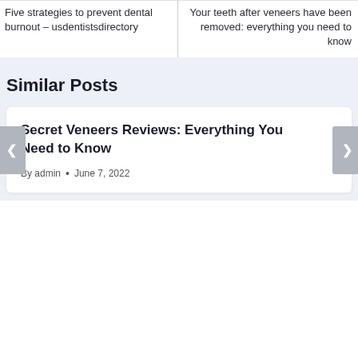Five strategies to prevent dental burnout – usdentistsdirectory
Your teeth after veneers have been removed: everything you need to know
Similar Posts
Secret Veneers Reviews: Everything You Need to Know
By admin • June 7, 2022